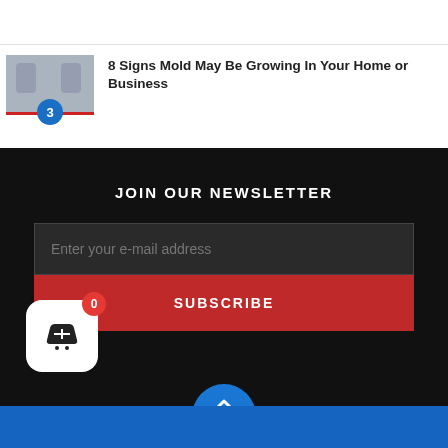[Figure (photo): Thumbnail image with a number 3 badge and a red underline border at the bottom]
8 Signs Mold May Be Growing In Your Home or Business
JOIN OUR NEWSLETTER
Enter your e-mail address
SUBSCRIBE
[Figure (other): Shopping cart widget with badge showing 0 and a blue back-to-top button]